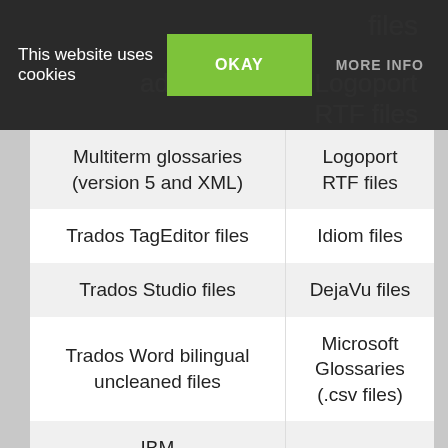files
ados
Logoport RTF files
This website uses cookies
OKAY
MORE INFO
| Multiterm glossaries (version 5 and XML) | Logoport RTF files |
| Trados TagEditor files | Idiom files |
| Trados Studio files | DejaVu files |
| Trados Word bilingual uncleaned files | Microsoft Glossaries (.csv files) |
| IBM TranslationManager folders, memories and dictionaries | Mac OS X Glossaries |
| OpenTM2 folders |  |